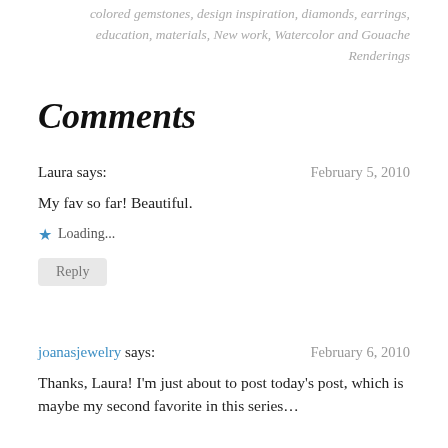colored gemstones, design inspiration, diamonds, earrings, education, materials, New work, Watercolor and Gouache Renderings
Comments
Laura says:    February 5, 2010
My fav so far! Beautiful.
Loading...
Reply
joanasjewelry says:    February 6, 2010
Thanks, Laura! I'm just about to post today's post, which is maybe my second favorite in this series…